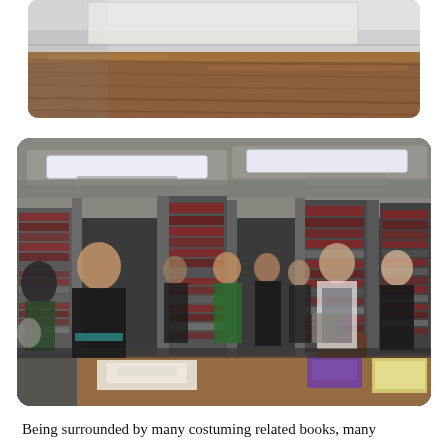[Figure (photo): Partial view of a room interior, showing what appears to be a table surface and ceiling, brown wood-tone colors]
[Figure (photo): Group of people standing in a library archive room surrounded by tall metal shelving units filled with books and bound volumes, fluorescent lighting overhead, a wooden desk in the foreground with papers and a purple box]
Being surrounded by many costuming related books, many